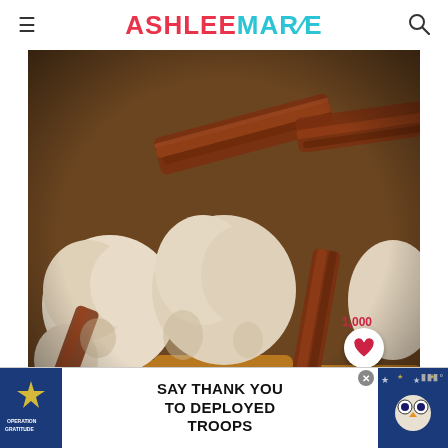ASHLEE MARIE
[Figure (photo): Close-up of maple bacon cupcakes with cream frosting and crispy bacon strips on top, warm brown tones]
1,000
[Figure (other): Heart/save button (white circle with red heart icon) and red search button below]
[Figure (other): Advertisement banner: Operation Gratitude - SAY THANK YOU TO DEPLOYED TROOPS, with patriotic imagery]